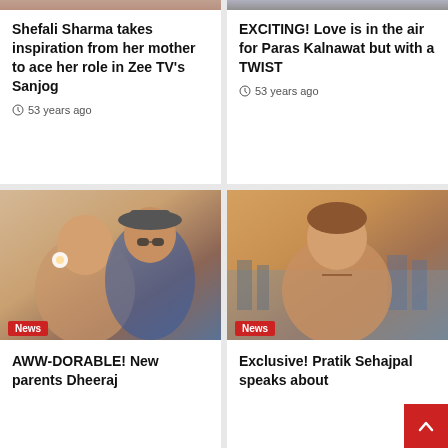Shefali Sharma takes inspiration from her mother to ace her role in Zee TV's Sanjog
53 years ago
EXCITING! Love is in the air for Paras Kalnawat but with a TWIST
53 years ago
[Figure (photo): Couple photo - woman with flower in hair and man wearing hat and sunglasses, News badge]
AWW-DORABLE! New parents Dheeraj
[Figure (photo): Shirtless man looking at camera with city background, News badge]
Exclusive! Pratik Sehajpal speaks about